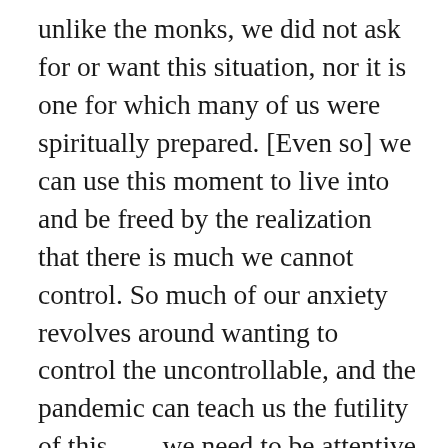unlike the monks, we did not ask for or want this situation, nor it is one for which many of us were spiritually prepared. [Even so] we can use this moment to live into and be freed by the realization that there is much we cannot control. So much of our anxiety revolves around wanting to control the uncontrollable, and the pandemic can teach us the futility of this. . . . we need to be attentive to the present moment and so focus on that which we can control: ‘If I can concentrate on being in control of that very small circle of reality that is entrusted